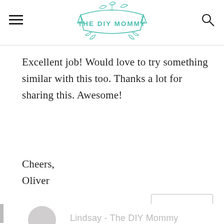THE DIY MOMMY
Excellent job! Would love to try something similar with this too. Thanks a lot for sharing this. Awesome!

Cheers,
Oliver
REPLY
Lindsay - The DIY Mommy